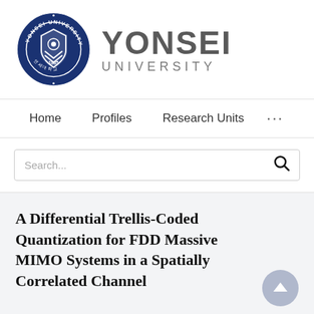[Figure (logo): Yonsei University seal and wordmark logo. The seal is circular with a dark blue background, featuring a shield with Korean symbols and '1885'. Next to it the text 'YONSEI UNIVERSITY' in large bold grey letters.]
Home   Profiles   Research Units   ...
Search...
A Differential Trellis-Coded Quantization for FDD Massive MIMO Systems in a Spatially Correlated Channel